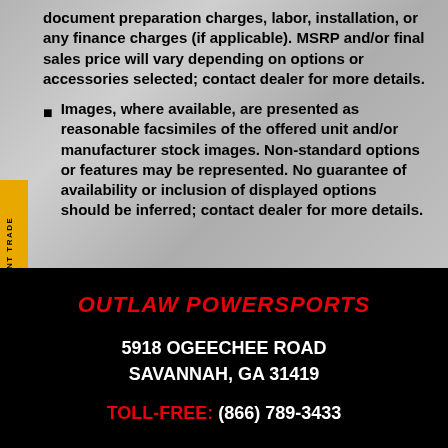document preparation charges, labor, installation, or any finance charges (if applicable). MSRP and/or final sales price will vary depending on options or accessories selected; contact dealer for more details.
Images, where available, are presented as reasonable facsimiles of the offered unit and/or manufacturer stock images. Non-standard options or features may be represented. No guarantee of availability or inclusion of displayed options should be inferred; contact dealer for more details.
OUTLAW POWERSPORTS
5918 OGEECHEE ROAD
SAVANNAH, GA 31419
TOLL-FREE: (866) 789-3433